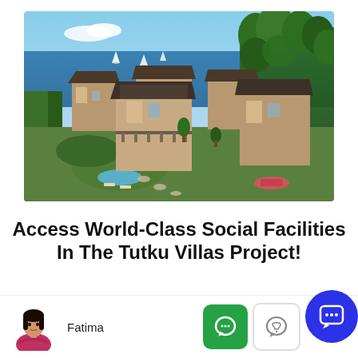[Figure (photo): Aerial rendering of Tutku Villas project showing modern villa buildings with rooftop terraces, green lawns, swimming pools, and sea view with sailboats in the background]
Access World-Class Social Facilities In The Tutku Villas Project!
[Figure (photo): Female real estate agent Fatima in red/pink blazer]
Fatima
[Figure (infographic): Green WhatsApp-style chat bubble icon button, white WhatsApp phone icon button, and blue circular chat icon button]